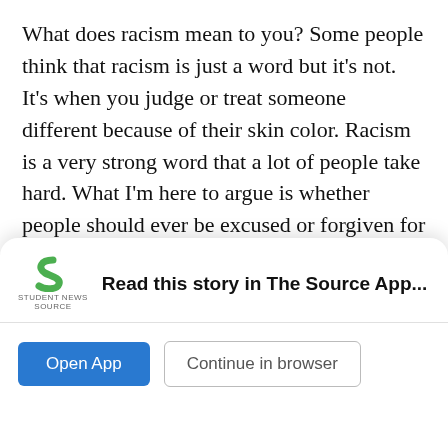What does racism mean to you? Some people think that racism is just a word but it's not. It's when you judge or treat someone different because of their skin color. Racism is a very strong word that a lot of people take hard. What I'm here to argue is whether people should ever be excused or forgiven for racism. What I think is that some people should be forgiven but not all. Most people want to follow others when it comes to racism – they might not know how their words can affect a person. But if they try to make up for their action, they can be forgiven and excused because they're trying to make up for the pain they caused. People should be forgiven for racism if they regret their actions and try to
make up for their mistake
[Figure (screenshot): Mobile app install banner for 'Student News Source' app with logo, title 'Read this story in The Source App...', and two buttons: 'Open App' and 'Continue in browser'.]